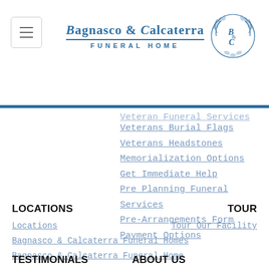[Figure (logo): Bagnasco & Calcaterra Funeral Home logo with emblem]
Veteran Funeral Services
Veterans Burial Flags
Veterans Headstones
Memorialization Options
Get Immediate Help
Pre Planning Funeral Services
Pre-Arrangements Form
Payment Options
LOCATIONS
Locations
Bagnasco & Calcaterra Funeral Homes
Bagnasco & Calcaterra Funeral Home
TOUR
Tour Our Facility
TESTIMONIALS
ABOUT US
Testimonials
About Us
Meet Our Staff